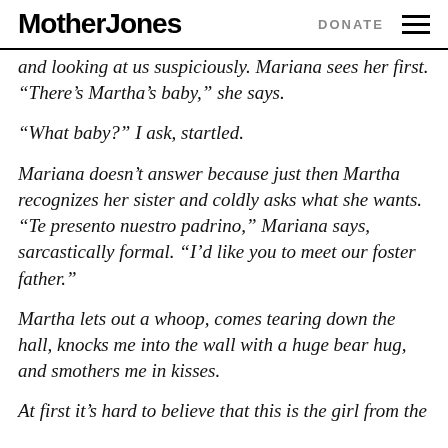Mother Jones   DONATE
and looking at us suspiciously. Mariana sees her first. “There’s Martha’s baby,” she says.
“What baby?” I ask, startled.
Mariana doesn’t answer because just then Martha recognizes her sister and coldly asks what she wants. “Te presento nuestro padrino,” Mariana says, sarcastically formal. “I’d like you to meet our foster father.”
Martha lets out a whoop, comes tearing down the hall, knocks me into the wall with a huge bear hug, and smothers me in kisses.
At first it’s hard to believe that this is the girl from the